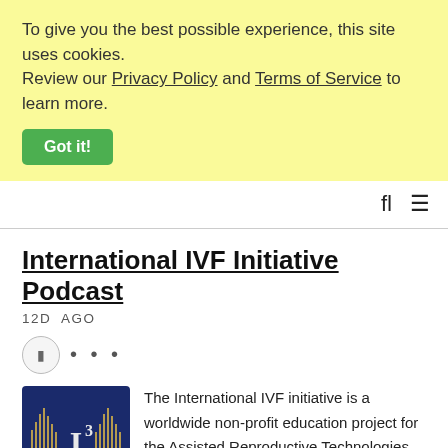To give you the best possible experience, this site uses cookies. Review our Privacy Policy and Terms of Service to learn more.
Got it!
[Figure (screenshot): Navigation bar with search and menu icons]
International IVF Initiative Podcast
12D  AGO
[Figure (other): Audio player play button and ellipsis menu]
[Figure (logo): International IVF Initiative podcast logo — dark blue square with gold waveform graphics and I^3 text]
The International IVF initiative is a worldwide non-profit education project for the Assisted Reproductive Technologies community, sharing scientific and practical and knowledge for Embryologists, Reproductive Scientists, and anyone working in